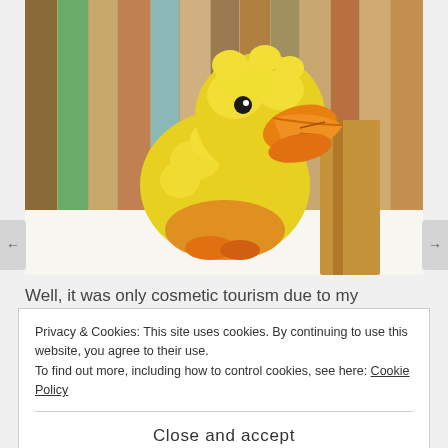[Figure (photo): A fluffy yellow rubber duck stuffed toy with an orange beak, peeking out from behind a colorful wooden plank backdrop. The toy sits on a white surface.]
Well, it was only cosmetic tourism due to my accident. A
Privacy & Cookies: This site uses cookies. By continuing to use this website, you agree to their use.
To find out more, including how to control cookies, see here: Cookie Policy
Close and accept